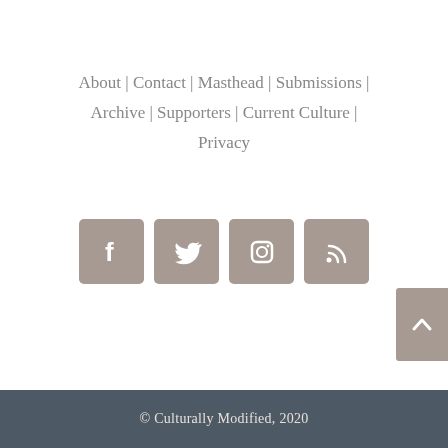About | Contact | Masthead | Submissions | Archive | Supporters | Current Culture | Privacy
[Figure (infographic): Four social media icon buttons in rounded square style: Facebook, Twitter, Instagram, RSS feed — all in muted taupe/grey color. A scroll-to-top button is partially visible on the right edge.]
© Culturally Modified, 2020